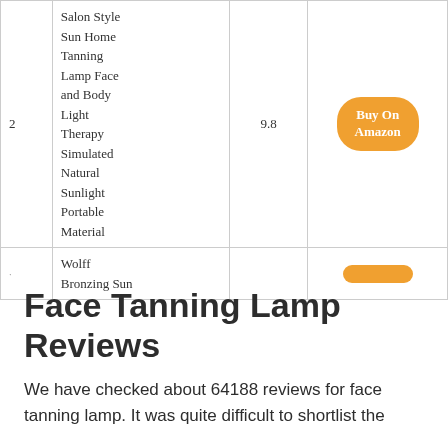| # | Product | Score |  |
| --- | --- | --- | --- |
| 2 | Salon Style Sun Home Tanning Lamp Face and Body Light Therapy Simulated Natural Sunlight Portable Material | 9.8 | Buy On Amazon |
|  | Wolff Bronzing Sun |  | Buy On Amazon |
Face Tanning Lamp Reviews
We have checked about 64188 reviews for face tanning lamp. It was quite difficult to shortlist the